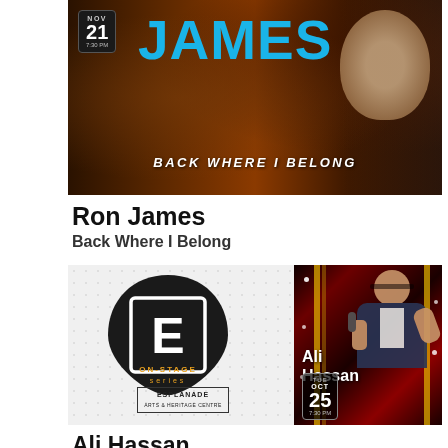[Figure (photo): Ron James 'Back Where I Belong' show banner with dark background, blue JAMES text, date NOV 21 7:30 PM, and photo of Ron James]
Ron James
Back Where I Belong
[Figure (photo): Esplanade On-Stage Series logo (guitar pick shape with E) on left and Ali Hassan show banner on right, TUE OCT 25 7:30 PM, performer on stage with microphone]
Ali Hassan
part of the On-Stage Series